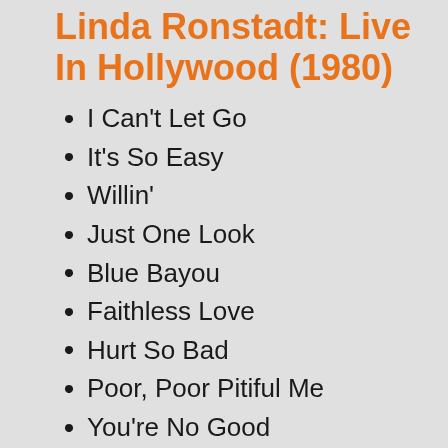Linda Ronstadt: Live In Hollywood (1980)
I Can't Let Go
It's So Easy
Willin'
Just One Look
Blue Bayou
Faithless Love
Hurt So Bad
Poor, Poor Pitiful Me
You're No Good
How Do I Make You
Back In The U.S.A.
Desperado